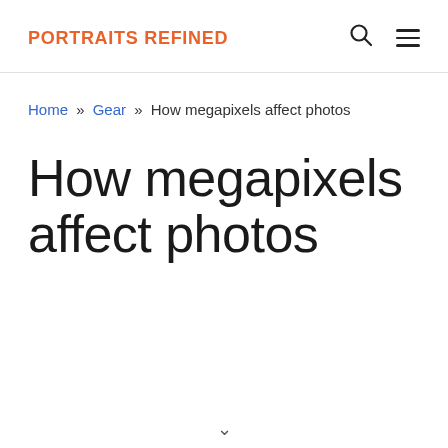PORTRAITS REFINED
Home » Gear » How megapixels affect photos
How megapixels affect photos